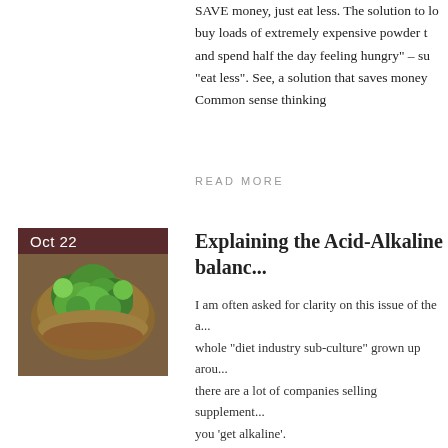SAVE money, just eat less. The solution to losing weight is not to buy loads of extremely expensive powder that makes you lose your mind and spend half the day feeling hungry" – su "eat less". See, a solution that saves money. Common sense thinking
READ MORE
[Figure (photo): Bowl of green vegetables (kale/broccoli) with date badge showing Oct 22]
Explaining the Acid-Alkaline balanc...
I am often asked for clarity on this issue of the a... whole "diet industry sub-culture" grown up arou... there are a lot of companies selling supplement... you 'get alkaline'.
This keeps coming up, and I keep meaning to wr... address it properly, once and for all.
I'll keep this as short and non-scientific as I can,... clear and simple.